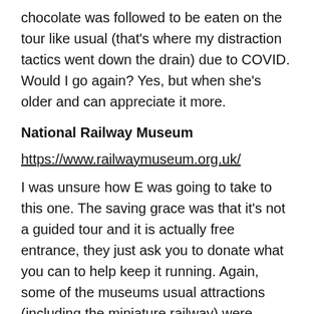chocolate was followed to be eaten on the tour like usual (that's where my distraction tactics went down the drain) due to COVID. Would I go again? Yes, but when she's older and can appreciate it more.
National Railway Museum
https://www.railwaymuseum.org.uk/
I was unsure how E was going to take to this one. The saving grace was that it's not a guided tour and it is actually free entrance, they just ask you to donate what you can to help keep it running. Again, some of the museums usual attractions (including the miniature railway) were closed or not running due to COVID, which is a shame, but completely understandable. At first, E didn't want to get out of the pram (if anyone knows me personally, they'll know how strange this is for her), but as we went outside to the play area, she suddenly came alive!